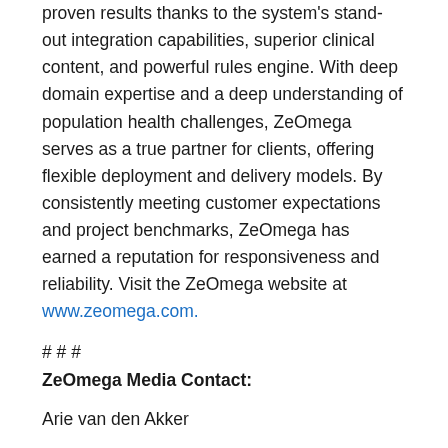proven results thanks to the system's stand-out integration capabilities, superior clinical content, and powerful rules engine. With deep domain expertise and a deep understanding of population health challenges, ZeOmega serves as a true partner for clients, offering flexible deployment and delivery models. By consistently meeting customer expectations and project benchmarks, ZeOmega has earned a reputation for responsiveness and reliability. Visit the ZeOmega website at www.zeomega.com.
# # #
ZeOmega Media Contact:
Arie van den Akker